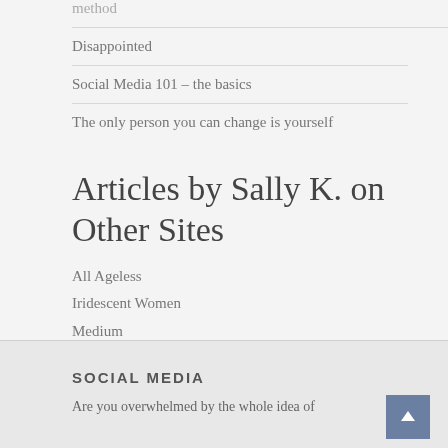method
Disappointed
Social Media 101 – the basics
The only person you can change is yourself
Articles by Sally K. on Other Sites
All Ageless
Iridescent Women
Medium
SOCIAL MEDIA
Are you overwhelmed by the whole idea of